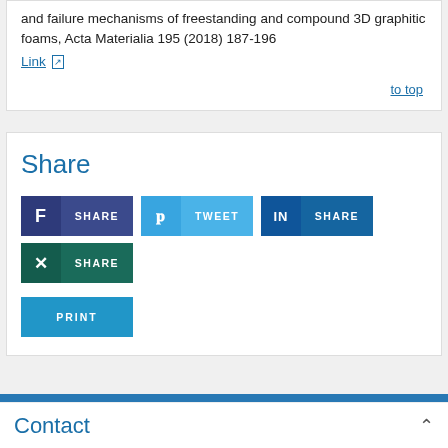and failure mechanisms of freestanding and compound 3D graphitic foams, Acta Materialia 195 (2018) 187-196
Link [external link icon]
to top
Share
SHARE (Facebook) | TWEET (Twitter) | SHARE (LinkedIn) | SHARE (Xing) | PRINT
Contact